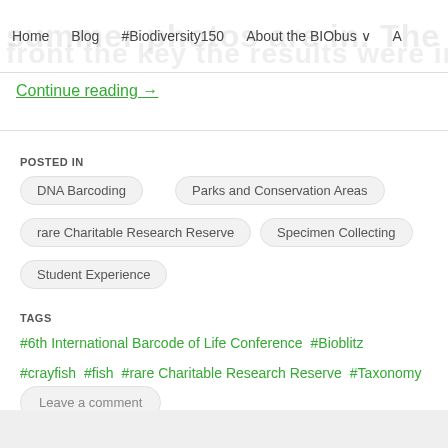Home   Blog   #Biodiversity150   About the BIObus   A...
Continue reading →
POSTED IN
DNA Barcoding
Parks and Conservation Areas
rare Charitable Research Reserve
Specimen Collecting
Student Experience
TAGS
#6th International Barcode of Life Conference   #Bioblitz   #crayfish   #fish   #rare Charitable Research Reserve   #Taxonomy
Leave a comment